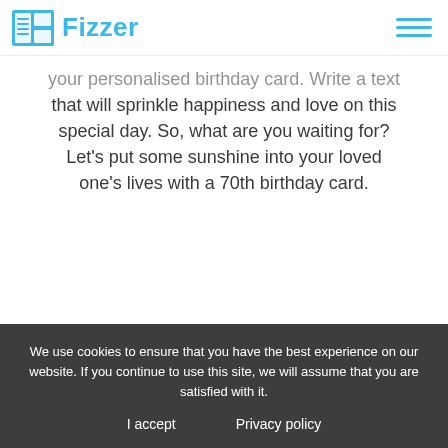Fizzer
your personalised birthday card. Write a text that will sprinkle happiness and love on this special day. So, what are you waiting for? Let's put some sunshine into your loved one's lives with a 70th birthday card.
Our 70th birthday cards
We use cookies to ensure that you have the best experience on our website. If you continue to use this site, we will assume that you are satisfied with it.
I accept
Privacy policy